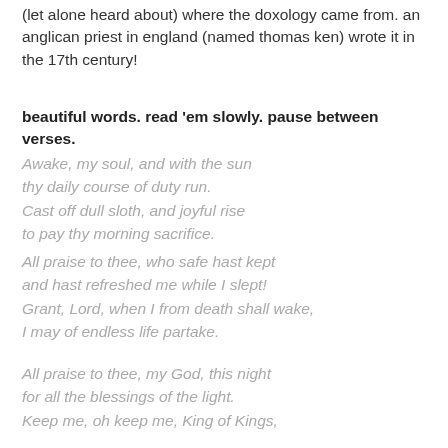(let alone heard about) where the doxology came from. an anglican priest in england (named thomas ken) wrote it in the 17th century!
beautiful words. read 'em slowly. pause between verses.
Awake, my soul, and with the sun
thy daily course of duty run.
Cast off dull sloth, and joyful rise
to pay thy morning sacrifice.
All praise to thee, who safe hast kept
and hast refreshed me while I slept!
Grant, Lord, when I from death shall wake,
I may of endless life partake.
All praise to thee, my God, this night
for all the blessings of the light.
Keep me, oh keep me, King of Kings,